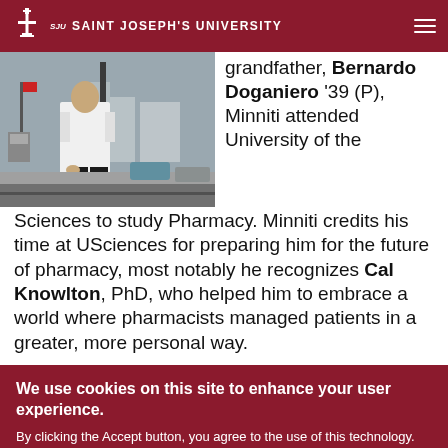SJU Saint Joseph's University
[Figure (photo): Person in white lab coat standing outdoors on a street]
grandfather, Bernardo Doganiero '39 (P), Minniti attended University of the Sciences to study Pharmacy. Minniti credits his time at USciences for preparing him for the future of pharmacy, most notably he recognizes Cal Knowlton, PhD, who helped him to embrace a world where pharmacists managed patients in a greater, more personal way.
We use cookies on this site to enhance your user experience.
By clicking the Accept button, you agree to the use of this technology.